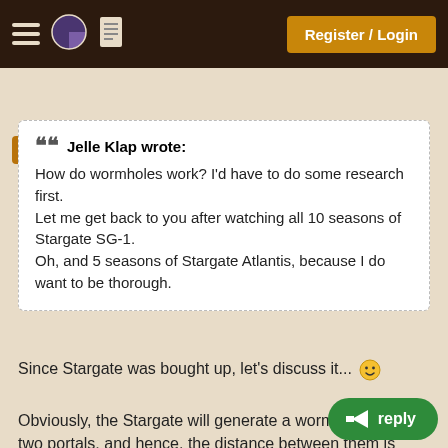Register / Login
+Pie
" Jelle Klap wrote:
How do wormholes work? I'd have to do some research first.
Let me get back to you after watching all 10 seasons of Stargate SG-1.
Oh, and 5 seasons of Stargate Atlantis, because I do want to be thorough.
Since Stargate was bought up, let's discuss it... 🙂
Obviously, the Stargate will generate a wormhole between two portals, and hence, the distance between them is much less than the actual distance between them, when not using the wormhole to travel.